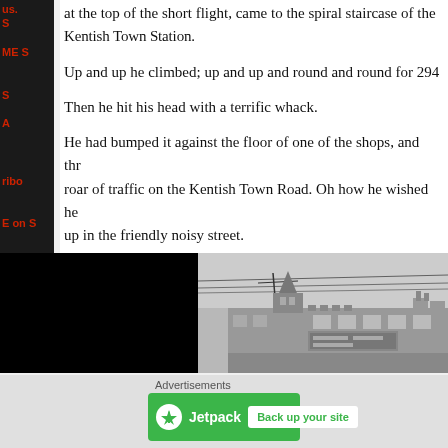at the top of the short flight, came to the spiral staircase of the Kentish Town Station.
Up and up he climbed; up and up and round and round for 294
Then he hit his head with a terrific whack.
He had bumped it against the floor of one of the shops, and through roar of traffic on the Kentish Town Road. Oh how he wished he up in the friendly noisy street.
[Figure (photo): Black and white photograph of a Victorian-era building on Kentish Town Road, with a turret and ornate architecture, overhead tram wires visible]
Advertisements
[Figure (infographic): Jetpack advertisement banner: green background with Jetpack logo and 'Back up your site' button]